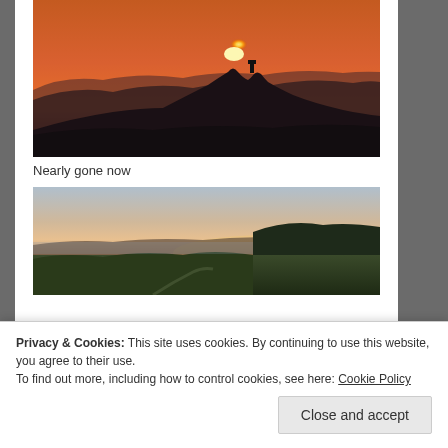[Figure (photo): Sunset silhouette landscape with a dark hill and small structure or tower at the peak against an orange-red sky, dark rolling hills in the foreground]
Nearly gone now
[Figure (photo): Post-sunset twilight landscape showing rolling green hills under a pale gradient sky (light blue to peach near horizon), with a winding road visible]
Privacy & Cookies: This site uses cookies. By continuing to use this website, you agree to their use.
To find out more, including how to control cookies, see here: Cookie Policy
Close and accept